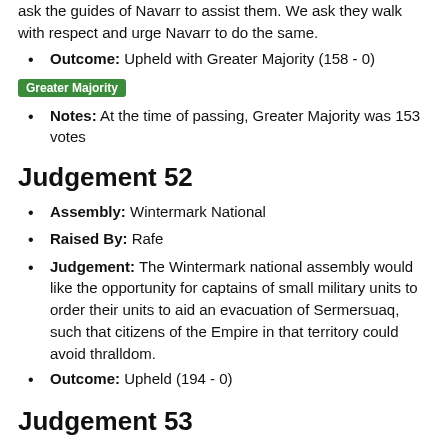ask the guides of Navarr to assist them. We ask they walk with respect and urge Navarr to do the same.
Outcome: Upheld with Greater Majority (158 - 0)
Greater Majority
Notes: At the time of passing, Greater Majority was 153 votes
Judgement 52
Assembly: Wintermark National
Raised By: Rafe
Judgement: The Wintermark national assembly would like the opportunity for captains of small military units to order their units to aid an evacuation of Sermersuaq, such that citizens of the Empire in that territory could avoid thralldom.
Outcome: Upheld (194 - 0)
Judgement 53
Assembly: Navarr National